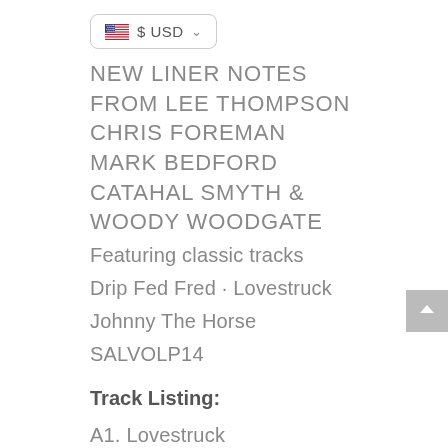[Figure (other): US flag icon with $ USD currency selector button with dropdown arrow]
NEW LINER NOTES FROM LEE THOMPSON CHRIS FOREMAN MARK BEDFORD CATAHAL SMYTH & WOODY WOODGATE
Featuring classic tracks
Drip Fed Fred · Lovestruck
Johnny The Horse
SALVOLP14
Track Listing:
A1. Lovestruck
A2. Johnny The Horse
A3. The Communicator